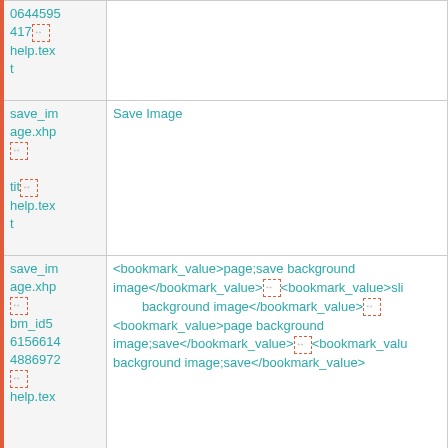| 0644595
417 [box]
help.tex
t |  |
| save_im
age.xhp
[box]
tit[box]
help.tex
t | Save Image |
| save_im
age.xhp
[box]
bm_id5
6156614
4886972
[box]
help.tex | <bookmark_value>page;save background
image</bookmark_value>[box]<bookmark_value>sli
background image</bookmark_value>[box]
<bookmark_value>page background
image;save</bookmark_value>[box]<bookmark_valu
background image;save</bookmark_value> |